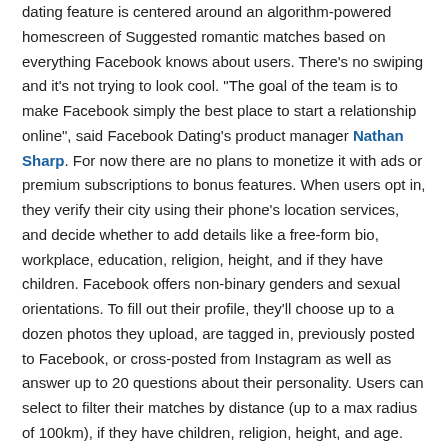dating feature is centered around an algorithm-powered homescreen of Suggested romantic matches based on everything Facebook knows about users. There's no swiping and it's not trying to look cool. "The goal of the team is to make Facebook simply the best place to start a relationship online", said Facebook Dating's product manager Nathan Sharp. For now there are no plans to monetize it with ads or premium subscriptions to bonus features. When users opt in, they verify their city using their phone's location services, and decide whether to add details like a free-form bio, workplace, education, religion, height, and if they have children. Facebook offers non-binary genders and sexual orientations. To fill out their profile, they'll choose up to a dozen photos they upload, are tagged in, previously posted to Facebook, or cross-posted from Instagram as well as answer up to 20 questions about their personality. Users can select to filter their matches by distance (up to a max radius of 100km), if they have children, religion, height, and age.
by Josh Constine
See full article at Tech Crunch